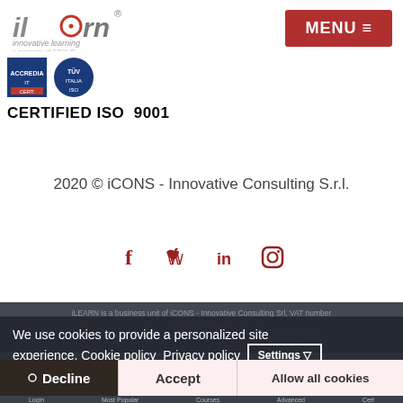[Figure (logo): iLearn innovative learning logo with red circle element and registered trademark symbol]
[Figure (logo): MENU navigation button in dark red/burgundy color]
[Figure (logo): ISO certification badge logos (two blue badges)]
CERTIFIED ISO  9001
2020 © iCONS - Innovative Consulting S.r.l.
[Figure (infographic): Social media icons: Facebook (f), Twitter (bird), LinkedIn (in), Instagram (camera circle) - all in dark red]
iLEARN is a business unit of iCONS - Innovative Consulting Srl, VAT number IT03345601962
We use cookies to provide a personalized site experience. Cookie policy  Privacy policy  Settings
Decline  Accept  Allow all cookies
Login  Most Popular  Courses  Advanced  Cert